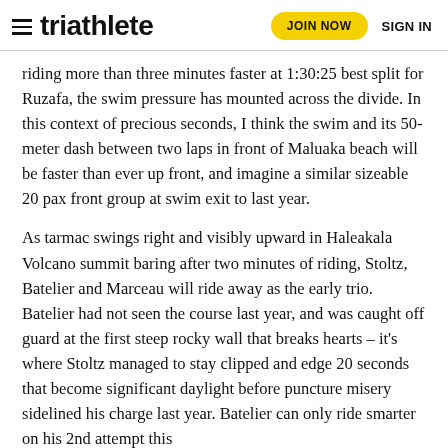triathlete  JOIN NOW  SIGN IN
riding more than three minutes faster at 1:30:25 best split for Ruzafa, the swim pressure has mounted across the divide. In this context of precious seconds, I think the swim and its 50-meter dash between two laps in front of Maluaka beach will be faster than ever up front, and imagine a similar sizeable 20 pax front group at swim exit to last year.
As tarmac swings right and visibly upward in Haleakala Volcano summit baring after two minutes of riding, Stoltz, Batelier and Marceau will ride away as the early trio. Batelier had not seen the course last year, and was caught off guard at the first steep rocky wall that breaks hearts – it's where Stoltz managed to stay clipped and edge 20 seconds that become significant daylight before puncture misery sidelined his charge last year. Batelier can only ride smarter on his 2nd attempt this